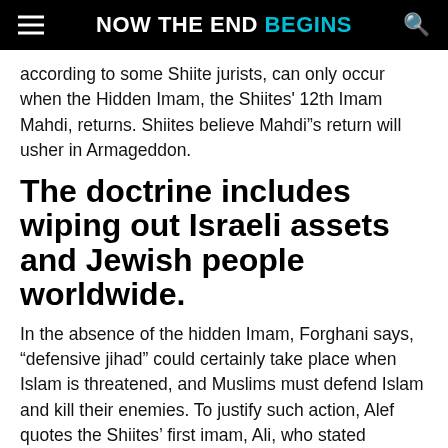NOW THE END BEGINS
according to some Shiite jurists, can only occur when the Hidden Imam, the Shiites' 12th Imam Mahdi, returns. Shiites believe Mahdi”s return will usher in Armageddon.
The doctrine includes wiping out Israeli assets and Jewish people worldwide.
In the absence of the hidden Imam, Forghani says, “defensive jihad” could certainly take place when Islam is threatened, and Muslims must defend Islam and kill their enemies. To justify such action, Alef quotes the Shiites’ first imam, Ali, who stated “Waging war against the enemies with whom war is inevitable and there is a strong